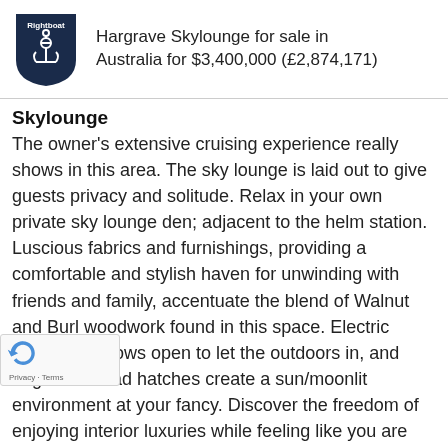Hargrave Skylounge for sale in Australia for $3,400,000 (£2,874,171)
Skylounge
The owner's extensive cruising experience really shows in this area. The sky lounge is laid out to give guests privacy and solitude. Relax in your own private sky lounge den; adjacent to the helm station. Luscious fabrics and furnishings, providing a comfortable and stylish haven for unwinding with friends and family, accentuate the blend of Walnut and Burl woodwork found in this space. Electric forward windows open to let the outdoors in, and large overhead hatches create a sun/moonlit environment at your fancy. Discover the freedom of enjoying interior luxuries while feeling like you are part of the surrounding landscape. This sky lounge r is designed to be versatile enough to suit your c nal desires for a bridge-like atmosphere. The aft boat deck is ideal for tender and water toy storage